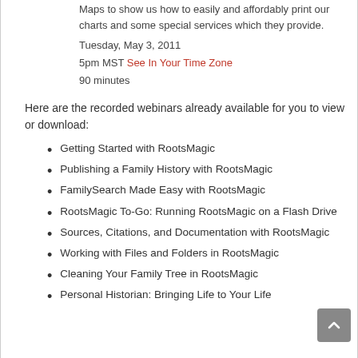Maps to show us how to easily and affordably print our charts and some special services which they provide.
Tuesday, May 3, 2011
5pm MST See In Your Time Zone
90 minutes
Here are the recorded webinars already available for you to view or download:
Getting Started with RootsMagic
Publishing a Family History with RootsMagic
FamilySearch Made Easy with RootsMagic
RootsMagic To-Go: Running RootsMagic on a Flash Drive
Sources, Citations, and Documentation with RootsMagic
Working with Files and Folders in RootsMagic
Cleaning Your Family Tree in RootsMagic
Personal Historian: Bringing Life to Your Life